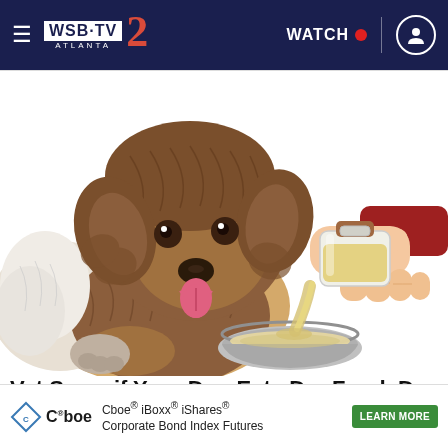WSB-TV 2 Atlanta | WATCH
[Figure (illustration): Illustrated image of a fluffy brown dog looking eagerly at a bowl while a hand pours liquid from a bottle into the bowl]
Vet Says: if Your Dog Eats Dry Food, Do This Every Day
Dr Marty | M
[Figure (infographic): Cboe iBoxx iShares Corporate Bond Index Futures advertisement banner with LEARN MORE button]